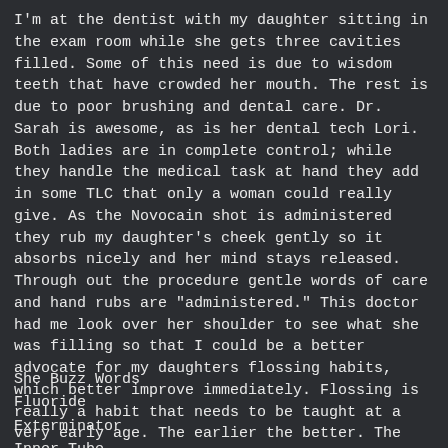I'm at the dentist with my daughter sitting in the exam room while she gets three cavities filled. Some of this need is due to wisdom teeth that have crowded her mouth. The rest is due to poor brushing and dental care. Dr. Sarah is awesome, as is her dental tech Lori. Both ladies are in complete control; while they handle the medical task at hand they add in some TLC that only a woman could really give. As the Novocain shot is administered they rub my daughter's cheek gently so it absorbs nicely and her mind stays released. Through out the procedure gentle words of care and hand rubs are "administered." This doctor had me look over her shoulder to see what she was filling so that I could be a better advocate for my daughters flossing habits, which better improve immediately. Flossing is really a habit that needs to be taught at a very early age. The earlier the better. The doctor just had me look into my daughter's mouth to show me another cavity in the works. Do I want her to fill this? Not as bad as I want my kid to floss.
She Buzz Words
Fluoride
Exterminator
Inner Tube